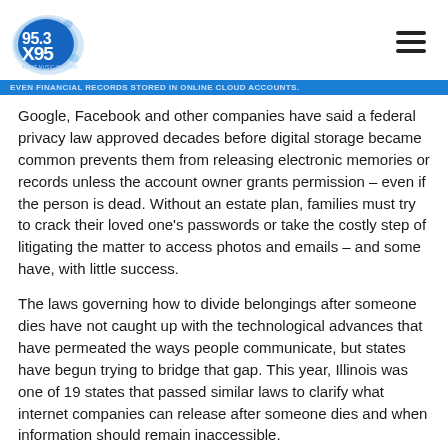95.3 X95 #1 Hit Music Station
even financial records stored in online cloud accounts.
Google, Facebook and other companies have said a federal privacy law approved decades before digital storage became common prevents them from releasing electronic memories or records unless the account owner grants permission – even if the person is dead. Without an estate plan, families must try to crack their loved one's passwords or take the costly step of litigating the matter to access photos and emails – and some have, with little success.
The laws governing how to divide belongings after someone dies have not caught up with the technological advances that have permeated the ways people communicate, but states have begun trying to bridge that gap. This year, Illinois was one of 19 states that passed similar laws to clarify what internet companies can release after someone dies and when information should remain inaccessible.